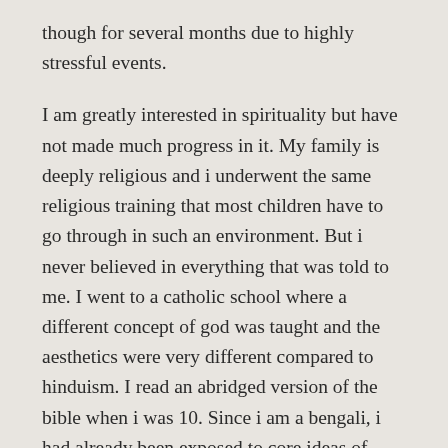though for several months due to highly stressful events.
I am greatly interested in spirituality but have not made much progress in it. My family is deeply religious and i underwent the same religious training that most children have to go through in such an environment. But i never believed in everything that was told to me. I went to a catholic school where a different concept of god was taught and the aesthetics were very different compared to hinduism. I read an abridged version of the bible when i was 10. Since i am a bengali, i had already been exposed to core ideas of ramakrishna and vivekananda by then. I was learning simple